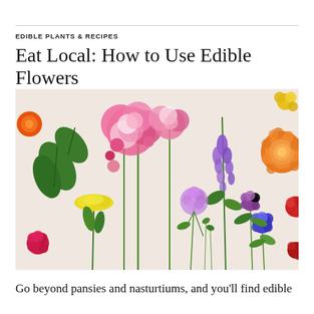EDIBLE PLANTS & RECIPES
Eat Local: How to Use Edible Flowers
[Figure (photo): Flat lay photograph of various edible flowers on a light background, including pink roses, purple larkspur, purple verbena, yellow yarrow, blue cornflower, red flowers, an orange chrysanthemum, and green leaves with stems arranged artfully.]
Go beyond pansies and nasturtiums, and you'll find edible